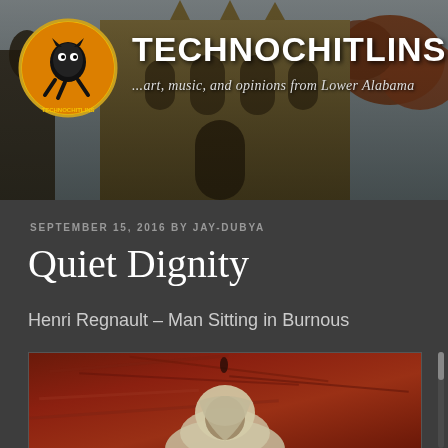[Figure (screenshot): Website header banner for Technochitlins blog showing a cathedral building and autumn trees in the background with a circular logo featuring a cartoon character on orange/red background, and white bold text reading TECHNOCHITLINS with italic tagline below]
TECHNOCHITLINS
...art, music, and opinions from Lower Alabama
SEPTEMBER 15, 2016 BY JAY-DUBYA
Quiet Dignity
Henri Regnault – Man Sitting in Burnous
[Figure (photo): Painting by Henri Regnault depicting a man sitting in a burnous, painted in warm reddish-brown tones with a figure wearing white/grey head covering in the lower portion of the visible area]